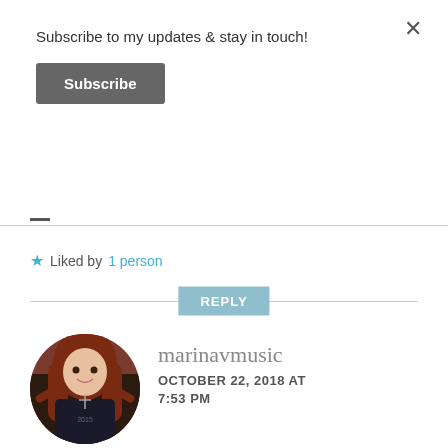Subscribe to my updates & stay in touch!
Subscribe
Liked by 1 person
REPLY
[Figure (photo): Circular avatar photo of a woman with long dark red hair wearing a dark top, posed with hands raised]
marinavmusic
OCTOBER 22, 2018 AT 7:53 PM
Hi Ella!! I'm so happy to hear this,